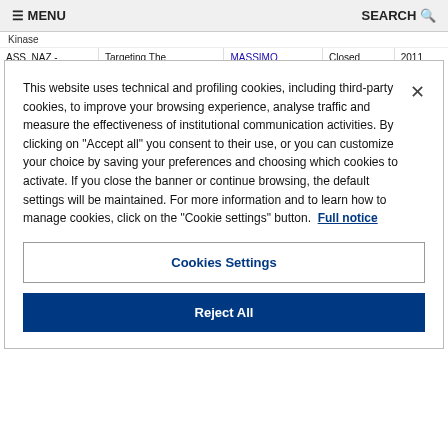≡ MENU    SEARCH 🔍
Kinase
|  |  |  | Closed | 2011 |
| --- | --- | --- | --- | --- |
| ASS_NAZ - BANDI DA ASSOCIAZIONI E ALTRI FINANZIATORI | Targeting The Lymphatics As A New Strategy In Cancer Immunotherapy | MASSIMO LOCATI | Closed | 2011 |
This website uses technical and profiling cookies, including third-party cookies, to improve your browsing experience, analyse traffic and measure the effectiveness of institutional communication activities. By clicking on "Accept all" you consent to their use, or you can customize your choice by saving your preferences and choosing which cookies to activate. If you close the banner or continue browsing, the default settings will be maintained. For more information and to learn how to manage cookies, click on the "Cookie settings" button. Full notice
Cookies Settings
Reject All